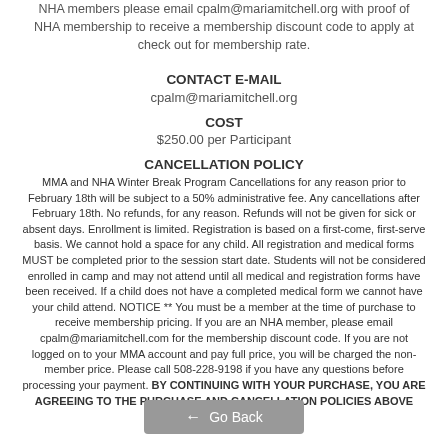NHA members please email cpalm@mariamitchell.org with proof of NHA membership to receive a membership discount code to apply at check out for membership rate.
CONTACT E-MAIL
cpalm@mariamitchell.org
COST
$250.00 per Participant
CANCELLATION POLICY
MMA and NHA Winter Break Program Cancellations for any reason prior to February 18th will be subject to a 50% administrative fee. Any cancellations after February 18th. No refunds, for any reason. Refunds will not be given for sick or absent days. Enrollment is limited. Registration is based on a first-come, first-serve basis. We cannot hold a space for any child. All registration and medical forms MUST be completed prior to the session start date. Students will not be considered enrolled in camp and may not attend until all medical and registration forms have been received. If a child does not have a completed medical form we cannot have your child attend. NOTICE ** You must be a member at the time of purchase to receive membership pricing. If you are an NHA member, please email cpalm@mariamitchell.com for the membership discount code. If you are not logged on to your MMA account and pay full price, you will be charged the non-member price. Please call 508-228-9198 if you have any questions before processing your payment. BY CONTINUING WITH YOUR PURCHASE, YOU ARE AGREEING TO THE PURCHASE AND CANCELLATION POLICIES ABOVE
Go Back